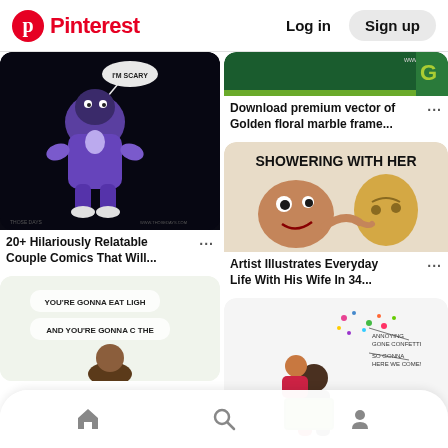Pinterest   Log in   Sign up
[Figure (illustration): Dark background cartoon illustration of a hugging couple with speech bubble saying 'I'M SCARY']
20+ Hilariously Relatable Couple Comics That Will...
[Figure (illustration): Gold and green floral marble frame design]
Download premium vector of Golden floral marble frame...
[Figure (illustration): Comic illustration titled 'SHOWERING WITH HER' showing two cartoon faces]
Artist Illustrates Everyday Life With His Wife In 34...
[Figure (illustration): Illustration of couple with confetti and labels 'ANNOYING GONE CONFETTI' and 'SO GONNA HERE WE COME!']
[Figure (illustration): Illustration with text 'YOU'RE GONNA EAT LIGHT AND YOU'RE GONNA COME THE...']